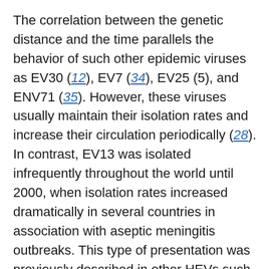The correlation between the genetic distance and the time parallels the behavior of such other epidemic viruses as EV30 (12), EV7 (34), EV25 (5), and ENV71 (35). However, these viruses usually maintain their isolation rates and increase their circulation periodically (28). In contrast, EV13 was isolated infrequently throughout the world until 2000, when isolation rates increased dramatically in several countries in association with aseptic meningitis outbreaks. This type of presentation was previously described in other HEVs such as EV4, which caused a large aseptic meningitis outbreak in 1997 in Israel (36). This behavior may be due to a genetic and antigenic drift that changes the virologic properties of the isolates. However, EV13 may simply be rare, and artifacts of surveillance or identification may have led to its seemingly sudden appearance. In consequence,